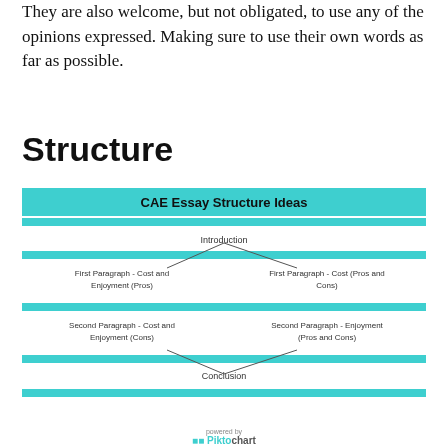They are also welcome, but not obligated, to use any of the opinions expressed. Making sure to use their own words as far as possible.
Structure
[Figure (flowchart): CAE Essay Structure Ideas diagram showing two parallel essay structures. Top: Introduction splits into two paths. Left path: First Paragraph - Cost and Enjoyment (Pros), then Second Paragraph - Cost and Enjoyment (Cons). Right path: First Paragraph - Cost (Pros and Cons), then Second Paragraph - Enjoyment (Pros and Cons). Both paths converge at Conclusion. Teal/cyan horizontal bars separate sections.]
powered by Piktochart